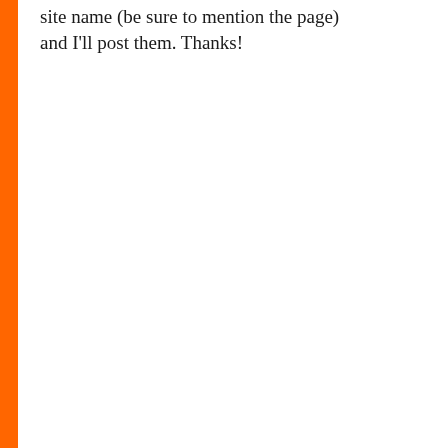site name (be sure to mention the page) and I'll post them. Thanks!